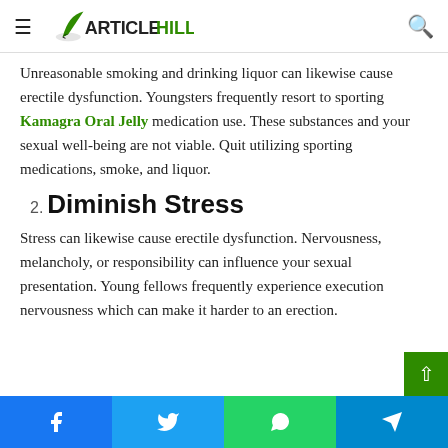ArticleHills
Unreasonable smoking and drinking liquor can likewise cause erectile dysfunction. Youngsters frequently resort to sporting Kamagra Oral Jelly medication use. These substances and your sexual well-being are not viable. Quit utilizing sporting medications, smoke, and liquor.
2. Diminish Stress
Stress can likewise cause erectile dysfunction. Nervousness, melancholy, or responsibility can influence your sexual presentation. Young fellows frequently experience execution nervousness which can make it harder to an erection.